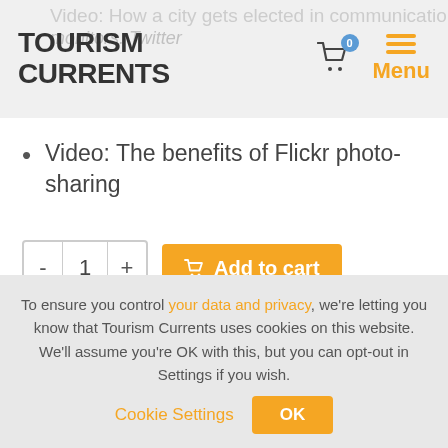Tourism Currents — Menu
Video: How a city gets elected in communication monitors. Twitter
Video: The benefits of Flickr photo-sharing
- 1 + Add to cart
To ensure you control your data and privacy, we're letting you know that Tourism Currents uses cookies on this website. We'll assume you're OK with this, but you can opt-out in Settings if you wish.
Cookie Settings  OK